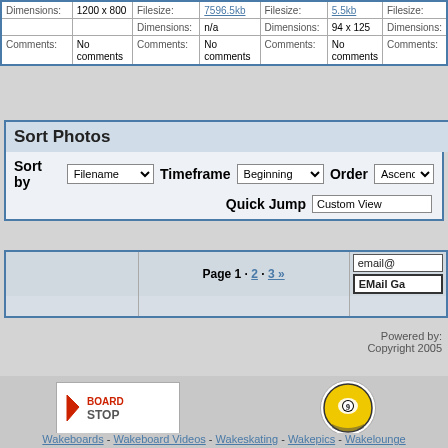|  |  |  |  |
| --- | --- | --- | --- |
| Dimensions: | 1200 x 800 | Filesize: | 7596.5kb |
|  |  | Dimensions: | n/a |
| Comments: | No comments | Comments: | No comments |
| Filesize: | 5.5kb |  |  |
| Dimensions: | 94 x 125 |  |  |
| Comments: | No comments |  |  |
Sort Photos
Sort by Filename  Timeframe Beginning  Order Ascend
Quick Jump Custom View
|  | Page 1 · 2 · 3 » | email@ / EMail Ga |
| --- | --- | --- |
Powered by:
Copyright 2005
[Figure (logo): BoardStop logo]
[Figure (logo): 9-ball billiard ball logo]
Wakeboards - Wakeboard Videos - Wakeskating - Wakepics - Wakelounge